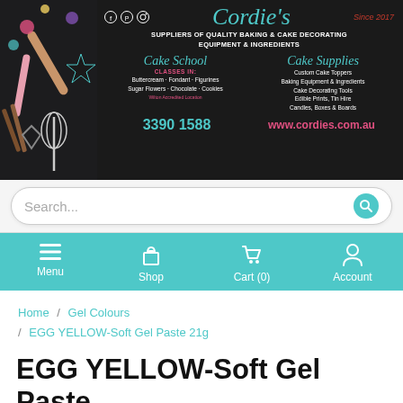[Figure (photo): Cordie's banner ad showing baking supplies on the left and text on dark background: brand name Cordie's, tagline 'Suppliers of Quality Baking & Cake Decorating Equipment & Ingredients', Cake School and Cake Supplies sections, phone 3390 1588, website www.cordies.com.au, Since 2017]
Search...
Menu  Shop  Cart (0)  Account
Home / Gel Colours / EGG YELLOW-Soft Gel Paste 21g
EGG YELLOW-Soft Gel Paste